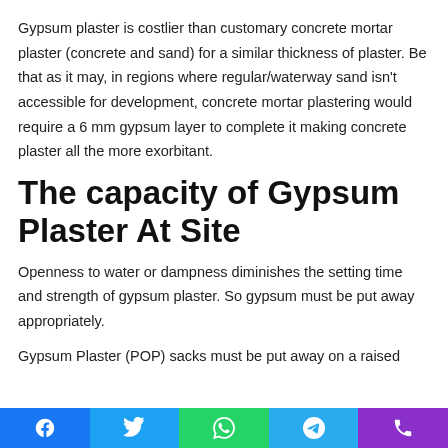Gypsum plaster is costlier than customary concrete mortar plaster (concrete and sand) for a similar thickness of plaster. Be that as it may, in regions where regular/waterway sand isn't accessible for development, concrete mortar plastering would require a 6 mm gypsum layer to complete it making concrete plaster all the more exorbitant.
The capacity of Gypsum Plaster At Site
Openness to water or dampness diminishes the setting time and strength of gypsum plaster. So gypsum must be put away appropriately.
Gypsum Plaster (POP) sacks must be put away on a raised